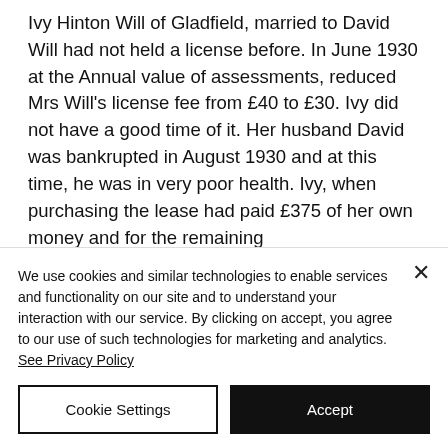Ivy Hinton Will of Gladfield, married to David Will had not held a license before. In June 1930 at the Annual value of assessments, reduced Mrs Will's license fee from £40 to £30. Ivy did not have a good time of it. Her husband David was bankrupted in August 1930 and at this time, he was in very poor health. Ivy, when purchasing the lease had paid £375 of her own money and for the remaining
We use cookies and similar technologies to enable services and functionality on our site and to understand your interaction with our service. By clicking on accept, you agree to our use of such technologies for marketing and analytics. See Privacy Policy
Cookie Settings
Accept